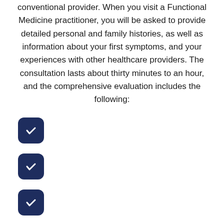conventional provider. When you visit a Functional Medicine practitioner, you will be asked to provide detailed personal and family histories, as well as information about your first symptoms, and your experiences with other healthcare providers. The consultation lasts about thirty minutes to an hour, and the comprehensive evaluation includes the following: